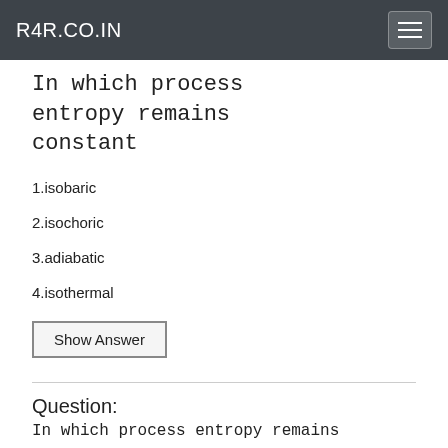R4R.CO.IN
In which process entropy remains constant
1.isobaric
2.isochoric
3.adiabatic
4.isothermal
Show Answer
Question:
In which process entropy remains constant...